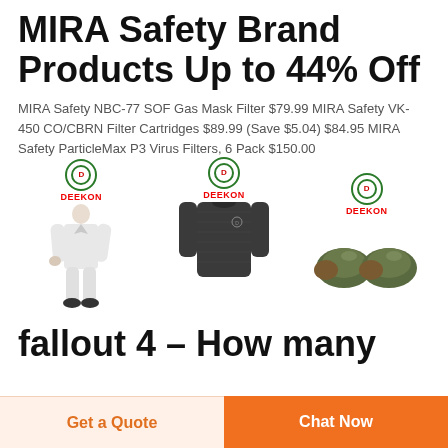MIRA Safety Brand Products Up to 44% Off
MIRA Safety NBC-77 SOF Gas Mask Filter $79.99 MIRA Safety VK-450 CO/CBRN Filter Cartridges $89.99 (Save $5.04) $84.95 MIRA Safety ParticleMax P3 Virus Filters, 6 Pack $150.00
[Figure (photo): Three product images each with a DEEKON logo above them: a white protective suit worn by a man, a dark long-sleeve athletic shirt, and a pair of olive/green military-style gloves or shoes]
fallout 4 – How many